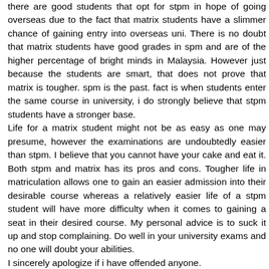there are good students that opt for stpm in hope of going overseas due to the fact that matrix students have a slimmer chance of gaining entry into overseas uni. There is no doubt that matrix students have good grades in spm and are of the higher percentage of bright minds in Malaysia. However just because the students are smart, that does not prove that matrix is tougher. spm is the past. fact is when students enter the same course in university, i do strongly believe that stpm students have a stronger base.
Life for a matrix student might not be as easy as one may presume, however the examinations are undoubtedly easier than stpm. I believe that you cannot have your cake and eat it. Both stpm and matrix has its pros and cons. Tougher life in matriculation allows one to gain an easier admission into their desirable course whereas a relatively easier life of a stpm student will have more difficulty when it comes to gaining a seat in their desired course. My personal advice is to suck it up and stop complaining. Do well in your university exams and no one will doubt your abilities.
I sincerely apologize if i have offended anyone.
Reply